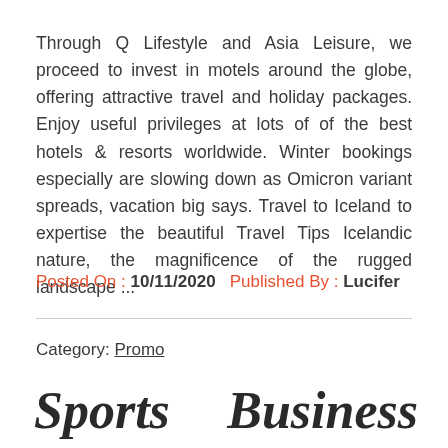Through Q Lifestyle and Asia Leisure, we proceed to invest in motels around the globe, offering attractive travel and holiday packages. Enjoy useful privileges at lots of of the best hotels & resorts worldwide. Winter bookings especially are slowing down as Omicron variant spreads, vacation big says. Travel to Iceland to expertise the beautiful Travel Tips Icelandic nature, the magnificence of the rugged landscape ...
Posted On : 10/11/2020   Published By : Lucifer
Category: Promo
Sports
Business